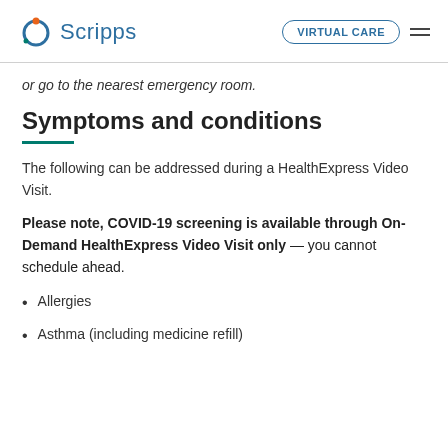Scripps | VIRTUAL CARE
or go to the nearest emergency room.
Symptoms and conditions
The following can be addressed during a HealthExpress Video Visit.
Please note, COVID-19 screening is available through On-Demand HealthExpress Video Visit only — you cannot schedule ahead.
Allergies
Asthma (including medicine refill)